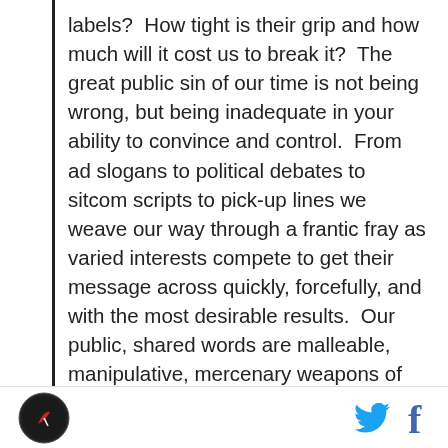labels?  How tight is their grip and how much will it cost us to break it?  The great public sin of our time is not being wrong, but being inadequate in your ability to convince and control.  From ad slogans to political debates to sitcom scripts to pick-up lines we weave our way through a frantic fray as varied interests compete to get their message across quickly, forcefully, and with the most desirable results.  Our public, shared words are malleable, manipulative, mercenary weapons of mass distraction.  They are measured, calculated, and encased in a protective coating designed to make them easy to swallow but difficult to differentiate.

That is why words such as the one we're here to
[logo] [twitter] [facebook]